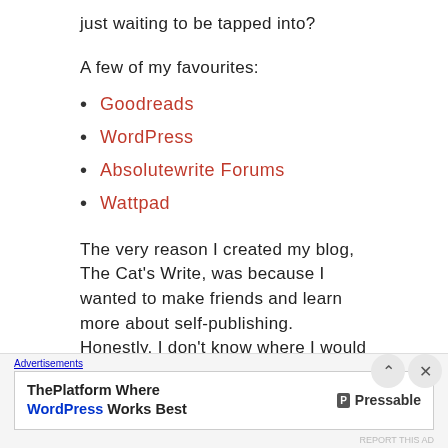just waiting to be tapped into?
A few of my favourites:
Goodreads
WordPress
Absolutewrite Forums
Wattpad
The very reason I created my blog, The Cat's Write, was because I wanted to make friends and learn more about self-publishing. Honestly, I don't know where I would be without you guys.
[Figure (photo): Partial image strip at bottom of page]
Advertisements
ThePlatform Where WordPress Works Best — Pressable